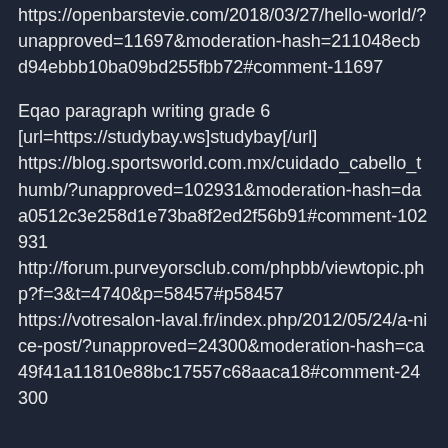https://openbarstevie.com/2018/03/27/hello-world/?unapproved=11697&moderation-hash=211048ecbd94ebbb10ba09bd255fbb72#comment-11697
Eqao paragraph writing grade 6 [url=https://studybay.ws]studybay[/url] https://blog.sportsworld.com.mx/cuidado_cabello_thumb/?unapproved=102931&moderation-hash=daa0512c3e258d1e73ba8f2ed2f56b91#comment-102931 http://forum.purveyorsclub.com/phpbb/viewtopic.php?f=3&t=4740&p=58457#p58457 https://votresalon-laval.fr/index.php/2012/05/24/a-nice-post/?unapproved=24300&moderation-hash=ca49f41a11810e88bc17557c68aaca18#comment-24300